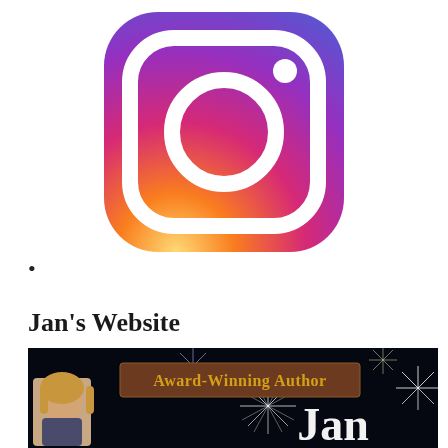[Figure (logo): Instagram logo with gradient background (orange to pink to purple), white rounded square outline, white circle and white dot in upper-right corner]
•
Jan's Website
[Figure (photo): Website banner for Jan's author website. Dark background with fireworks. A wooden plank banner reads 'Award-Winning Author' in gold lettering. A photo of a woman with blonde hair smiling is in the lower left. Large white text reads 'Jan' on the right side.]